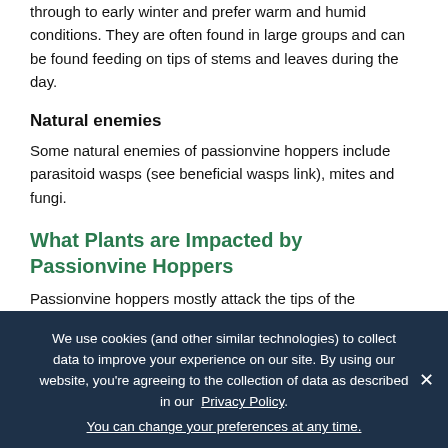through to early winter and prefer warm and humid conditions. They are often found in large groups and can be found feeding on tips of stems and leaves during the day.
Natural enemies
Some natural enemies of passionvine hoppers include parasitoid wasps (see beneficial wasps link), mites and fungi.
What Plants are Impacted by Passionvine Hoppers
Passionvine hoppers mostly attack the tips of the
We use cookies (and other similar technologies) to collect data to improve your experience on our site. By using our website, you're agreeing to the collection of data as described in our Privacy Policy.
You can change your preferences at any time.